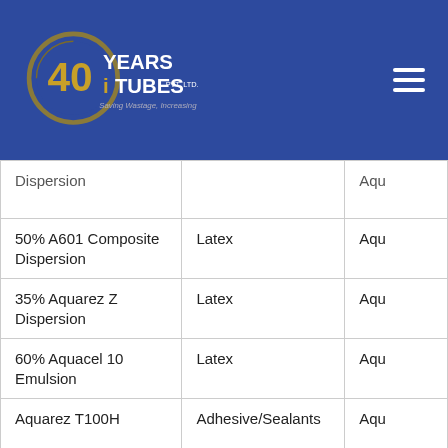40 YEARS iNTUBES Pvt. Ltd. - Saving Wastage, Increasing Profit
| Product | Type | Brand |
| --- | --- | --- |
| Dispersion (partial) |  | Aqu... |
| 50% A601 Composite Dispersion | Latex | Aqu... |
| 35% Aquarez Z Dispersion | Latex | Aqu... |
| 60% Aquacel 10 Emulsion | Latex | Aqu... |
| Aquarez T100H | Adhesive/Sealants | Aqu... |
| Aquanox 100S | PVC polymerisation | Acq... |